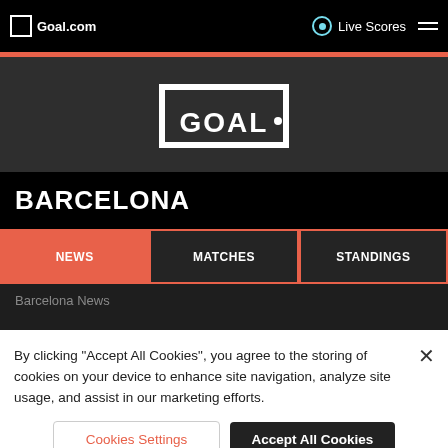Goal.com | Live Scores
[Figure (logo): GOAL logo — white text in goalpost frame on dark background]
BARCELONA
NEWS
MATCHES
STANDINGS
Barcelona News
By clicking "Accept All Cookies", you agree to the storing of cookies on your device to enhance site navigation, analyze site usage, and assist in our marketing efforts.
Cookies Settings | Accept All Cookies